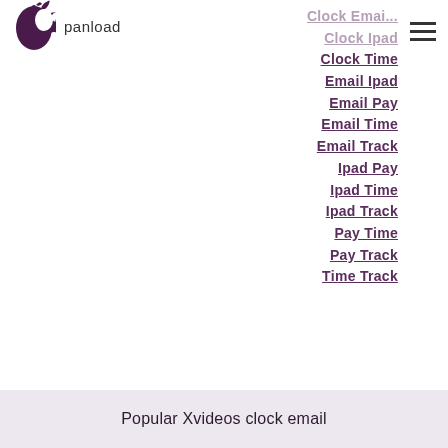panload
Clock Email
Clock Ipad
Clock Time
Email Ipad
Email Pay
Email Time
Email Track
Ipad Pay
Ipad Time
Ipad Track
Pay Time
Pay Track
Time Track
Popular Xvideos clock email